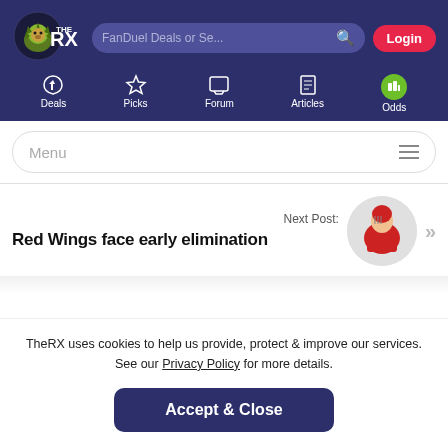[Figure (screenshot): TheRX website header with logo, search bar, and login button on dark blue background]
Deals | Picks | Forum | Articles | Odds
Menu
Next Post: Red Wings face early elimination
TheRX uses cookies to help us provide, protect & improve our services. See our Privacy Policy for more details.
Accept & Close